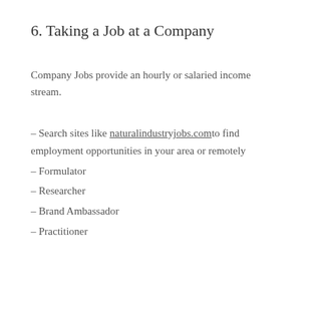6. Taking a Job at a Company
Company Jobs provide an hourly or salaried income stream.
– Search sites like naturalindustryjobs.com to find employment opportunities in your area or remotely
– Formulator
– Researcher
– Brand Ambassador
– Practitioner
7. Creating a Website